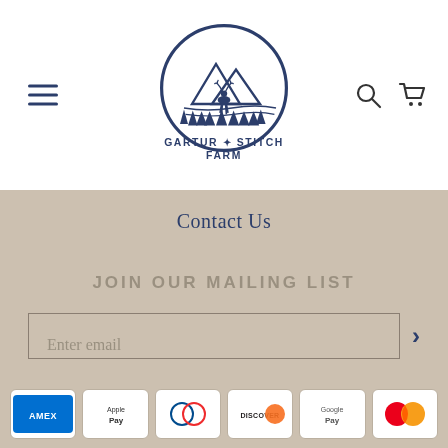[Figure (logo): Gartur Stitch Farm circular logo with mountains, trees, and deer silhouette above text GARTUR STITCH FARM in dark navy blue]
Contact Us
JOIN OUR MAILING LIST
Enter email
[Figure (other): Payment method icons: American Express, Apple Pay, Diners Club, Discover, Google Pay, Mastercard]